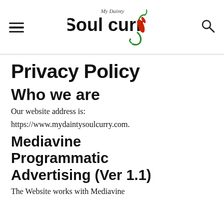My Dainty Soul Curry
Privacy Policy
Who we are
Our website address is:
https://www.mydaintysoulcurry.com.
Mediavine Programmatic Advertising (Ver 1.1)
The Website works with Mediavine